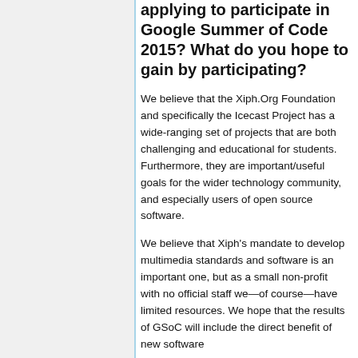applying to participate in Google Summer of Code 2015? What do you hope to gain by participating?
We believe that the Xiph.Org Foundation and specifically the Icecast Project has a wide-ranging set of projects that are both challenging and educational for students. Furthermore, they are important/useful goals for the wider technology community, and especially users of open source software.
We believe that Xiph's mandate to develop multimedia standards and software is an important one, but as a small non-profit with no official staff we—of course—have limited resources. We hope that the results of GSoC will include the direct benefit of new software